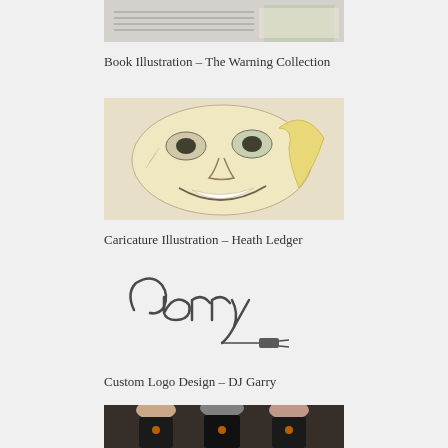[Figure (illustration): Book illustration showing figures with musical score lines, partially visible at top of page]
Book Illustration – The Warning Collection
[Figure (illustration): Caricature illustration of Heath Ledger showing exaggerated facial features, pencil sketch style with blonde hair]
Caricature Illustration – Heath Ledger
[Figure (logo): Custom logo design showing the word 'Garry' in wire/rope script lettering with a connector at the end]
Custom Logo Design – DJ Garry
[Figure (photo): Photo of group of people wearing black t-shirts with orange spider design, partially visible at bottom of page]